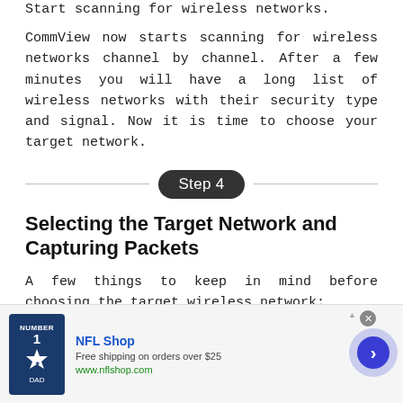Start scanning for wireless networks.
CommView now starts scanning for wireless networks channel by channel. After a few minutes you will have a long list of wireless networks with their security type and signal. Now it is time to choose your target network.
Step 4
Selecting the Target Network and Capturing Packets
A few things to keep in mind before choosing the target wireless network:
This tutorial is only for WEP encrypted networks, so make sure you select a network with WEP security type. If ...